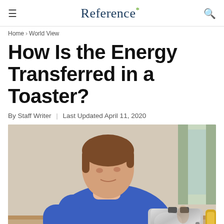Reference*
Home › World View
How Is the Energy Transferred in a Toaster?
By Staff Writer | Last Updated April 11, 2020
[Figure (photo): A young boy in a blue sweater leaning over a silver toaster on a kitchen counter, with a boiled egg and food items visible nearby.]